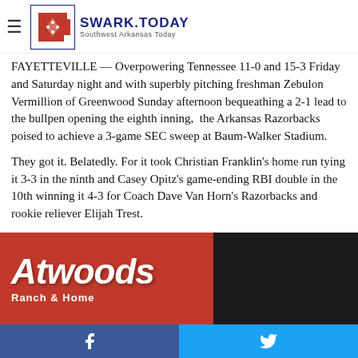SWARK.TODAY — Southwest Arkansas Today
FAYETTEVILLE — Overpowering Tennessee 11-0 and 15-3 Friday and Saturday night and with superbly pitching freshman Zebulon Vermillion of Greenwood Sunday afternoon bequeathing a 2-1 lead to the bullpen opening the eighth inning, the Arkansas Razorbacks poised to achieve a 3-game SEC sweep at Baum-Walker Stadium.
They got it. Belatedly. For it took Christian Franklin's home run tying it 3-3 in the ninth and Casey Opitz's game-ending RBI double in the 10th winning it 4-3 for Coach Dave Van Horn's Razorbacks and rookie reliever Elijah Trest.
[Figure (photo): Atwoods Ranch & Home advertisement banner with red background on left and dark background on right]
Facebook share | Twitter share